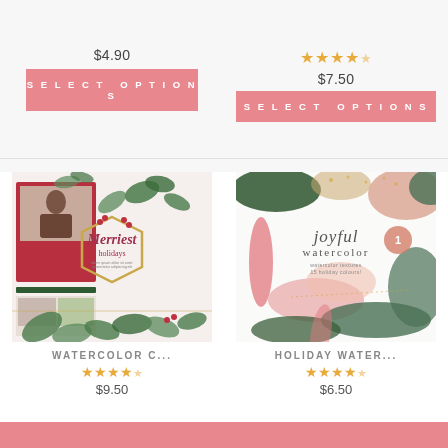$4.90
SELECT OPTIONS
[Figure (other): Star rating: 4.5 stars (gold)]
$7.50
SELECT OPTIONS
[Figure (illustration): Watercolor Christmas holiday card with botanical elements, hexagon frame, photo collage and text 'Merriest holidays']
WATERCOLOR C...
[Figure (other): Star rating: 4.5 stars (gold)]
$9.50
[Figure (illustration): Joyful watercolor holiday watercolor brush strokes in pink and green with text 'joyful watercolor']
HOLIDAY WATER...
[Figure (other): Star rating: 4.5 stars (gold)]
$6.50